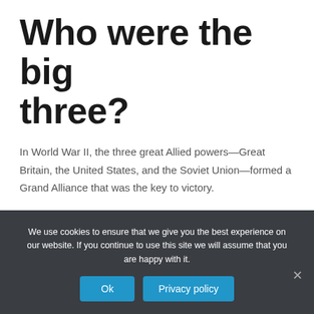Who were the big three?
In World War II, the three great Allied powers—Great Britain, the United States, and the Soviet Union—formed a Grand Alliance that was the key to victory.
What are two reasons why
We use cookies to ensure that we give you the best experience on our website. If you continue to use this site we will assume that you are happy with it.